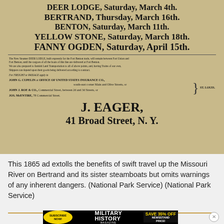[Figure (photo): 1865 historical steamboat advertisement on aged sepia paper listing steamboat departures: DEER LODGE Saturday March 4th, BERTRAND Thursday March 16th, BENTON Saturday March 11th, YELLOW STONE Saturday March 18th, FANNY OGDEN Saturday April 15th. Small print about freight/passage contact info. Signed J. EAGER, 41 Broad Street, N.Y.]
This 1865 ad extolls the benefits of swift travel up the Missouri River on Bertrand and its sister steamboats but omits warnings of any inherent dangers. (National Park Service) (National Park Service)
[Figure (infographic): Military History Magazine advertisement banner: SUBSCRIBE NOW! MILITARY HISTORY MAGAZINE SAVE 35% OFF NEWSSTAND PRICE!]